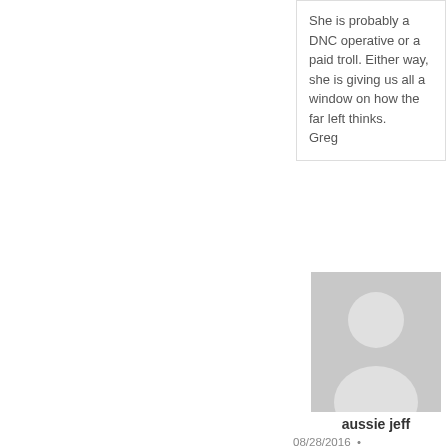She is probably a DNC operative or a paid troll. Either way, she is giving us all a window on how the far left thinks.
Greg
[Figure (illustration): Generic user avatar placeholder - grey silhouette of a person on a grey background]
aussie jeff
08/28/2016 •
I agree Greg,i find Gina very entertaining,whe else can we